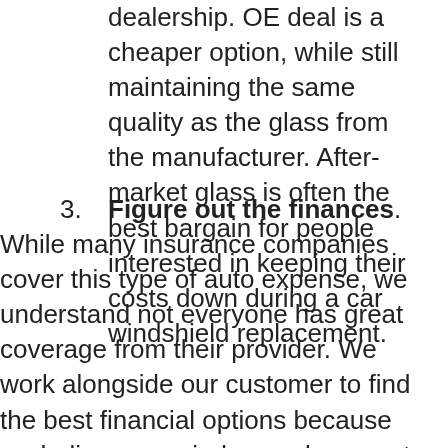dealership. OE deal is a cheaper option, while still maintaining the same quality as the glass from the manufacturer. After-market glass is often the best bargain for people interested in keeping their costs down during a car windshield replacement.
Figure out the finances. While many insurance companies cover this type of auto expense, we understand not everyone has great coverage from their provider. We work alongside our customer to find the best financial options because we believe car window replacement is important, and we want every person to be safe on the road.